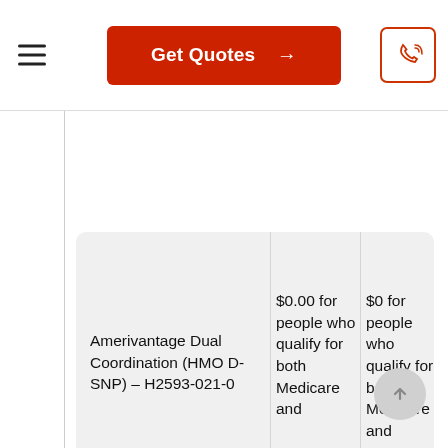Get Quotes →
Amerivantage Dual Coordination (HMO D-SNP) – H2593-021-0
$0.00 for people who qualify for both Medicare and
$0 for people who qualify for both Medicare and